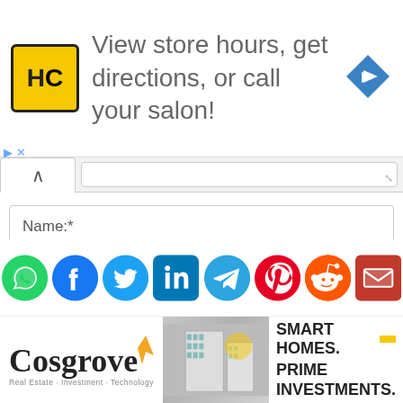[Figure (infographic): HC salon logo (yellow square with HC letters), text 'View store hours, get directions, or call your salon!', blue navigation/maps icon on the right. Ad controls (play and close) on the left.]
[Figure (screenshot): Web form UI with a collapse/expand button (^), a textarea stub, and input fields for Name:*, Email:*, and Website:, plus a partial checkbox row below.]
[Figure (infographic): Social media sharing icons: WhatsApp, Facebook, Twitter, LinkedIn, Telegram, Pinterest, Reddit, Email]
[Figure (infographic): Cosgrove Real Estate advertisement: Cosgrove logo with orange flame icon on left, building photo in center, 'SMART HOMES. PRIME INVESTMENTS.' text with yellow dash on right.]